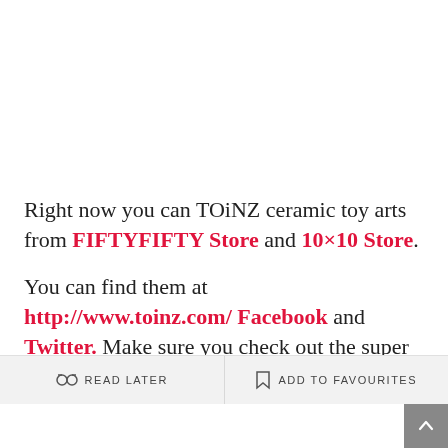Right now you can TOiNZ ceramic toy arts from FIFTYFIFTY Store and 10×10 Store. You can find them at http://www.toinz.com/ Facebook and Twitter. Make sure you check out the super cute Illustrations too.
READ LATER | ADD TO FAVOURITES